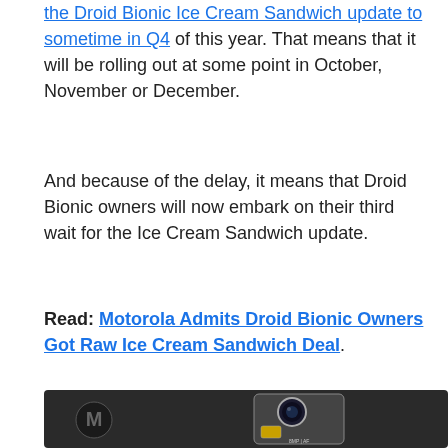the Droid Bionic Ice Cream Sandwich update to sometime in Q4 of this year. That means that it will be rolling out at some point in October, November or December.
And because of the delay, it means that Droid Bionic owners will now embark on their third wait for the Ice Cream Sandwich update.
Read: Motorola Admits Droid Bionic Owners Got Raw Ice Cream Sandwich Deal.
[Figure (photo): Close-up photo of the back of a Motorola Droid Bionic smartphone showing the Motorola logo and camera module with 8MP AF label]